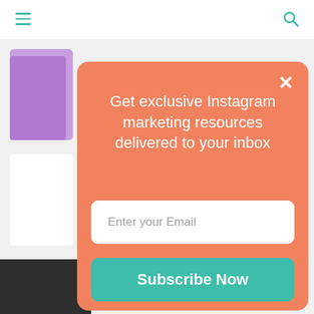≡  🔍
[Figure (screenshot): Background webpage content with purple card thumbnail and white card visible behind modal overlay]
Get exclusive Instagram marketing resources delivered to your inbox
Enter your Email
Subscribe Now